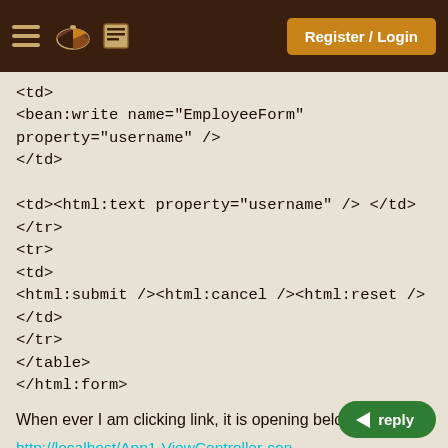Register / Login
<td>
<bean:write name="EmployeeForm"
property="username" />
</td>

<td><html:text property="username" /> </td>
</tr>
<tr>
<td>
<html:submit /><html:cancel /><html:reset />
</td>
</tr>
</table>
</html:form>
When ever I am clicking link, it is opening below url:
http://localhost/App1-ViewController-con…root/Edit.do?username=Kavaya